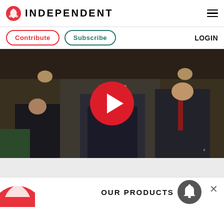INDEPENDENT
Contribute | Subscribe | LOGIN
[Figure (screenshot): Video player showing UK Parliament scene with politicians in chamber, large red play button overlay in center]
OUR PRODUCTS